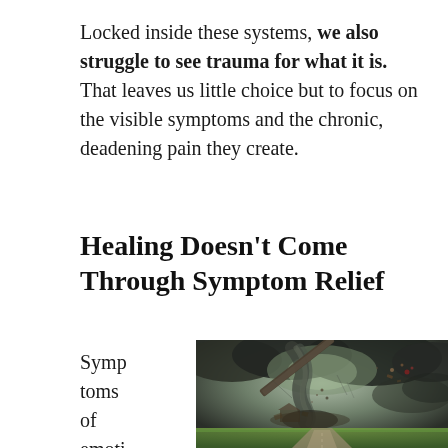Locked inside these systems, we also struggle to see trauma for what it is. That leaves us little choice but to focus on the visible symptoms and the chronic, deadening pain they create.
Healing Doesn't Come Through Symptom Relief
Symptoms of emotional traum
[Figure (photo): A dramatic tornado or storm scene showing a dark swirling funnel cloud destroying a house, with debris flying through dark greenish-grey sky and a road leading toward the storm.]